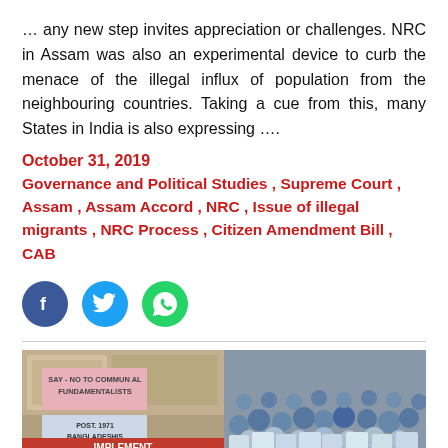… any new step invites appreciation or challenges. NRC in Assam was also an experimental device to curb the menace of the illegal influx of population from the neighbouring countries. Taking a cue from this, many States in India is also expressing ….
October 31, 2019
Governance and Political Studies , Supreme Court , Assam , Assam Accord , NRC , Issue of illegal migrants , NRC Process , Citizen Amendment Bill , CAB
[Figure (infographic): Social media share buttons: Facebook (blue circle with f), Twitter (light blue circle with bird icon), WhatsApp (green circle with phone icon)]
[Figure (photo): Protest photo showing banners reading 'SAY - NO TO COMMUNAL FUNDAMENTALISTS', 'POST 1971 BANGLADESHIS MUST LEAVE ASSAM', and 'IMPLEMENT ASSAM ACCORD', with crowd of people in background]